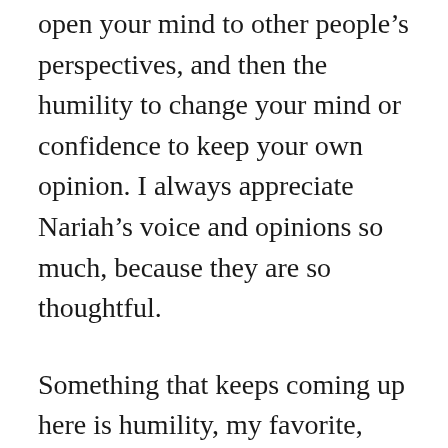open your mind to other people's perspectives, and then the humility to change your mind or confidence to keep your own opinion. I always appreciate Nariah's voice and opinions so much, because they are so thoughtful.
Something that keeps coming up here is humility, my favorite, and I think underappreciated, trait. So here's my shoutout to humility.
(partial text cut off at bottom)